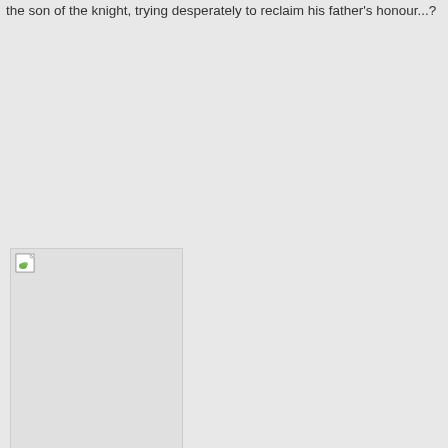the son of the knight, trying desperately to reclaim his father's honour...?
[Figure (photo): A broken/missing image placeholder with a small icon in the top-left corner]